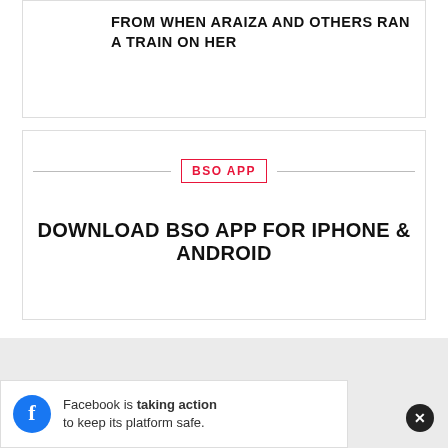FROM WHEN ARAIZA AND OTHERS RAN A TRAIN ON HER
BSO APP
DOWNLOAD BSO APP FOR iPHONE & ANDROID
[Figure (other): Grey background area (advertisement placeholder)]
Facebook is taking action to keep its platform safe.